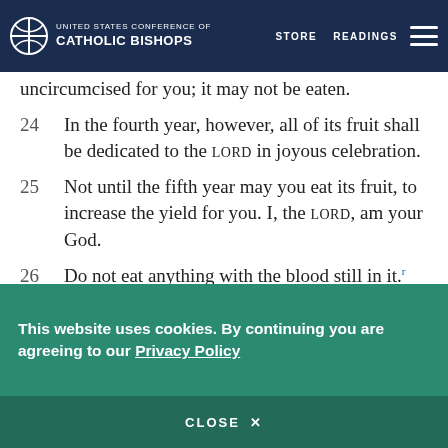UNITED STATES CONFERENCE OF CATHOLIC BISHOPS — STORE  READINGS
uncircumcised for you; it may not be eaten.
24  In the fourth year, however, all of its fruit shall be dedicated to the LORD in joyous celebration.
25  Not until the fifth year may you eat its fruit, to increase the yield for you. I, the LORD, am your God.
26  Do not eat anything with the blood still in it. Do not recite charms or practice soothsaying.
This website uses cookies. By continuing you are agreeing to our Privacy Policy
CLOSE  X